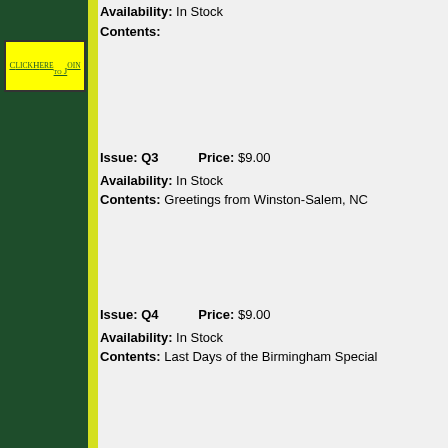[Figure (other): Green sidebar with yellow stripe on left side of page]
Click Here to Join
Availability: In Stock
Contents:
Issue: Q3   Price: $9.00
Availability: In Stock
Contents: Greetings from Winston-Salem, NC
Issue: Q4   Price: $9.00
Availability: In Stock
Contents: Last Days of the Birmingham Special